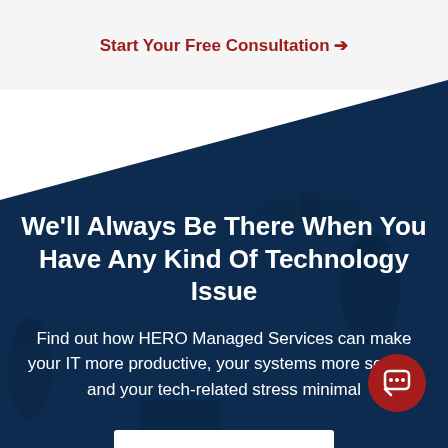Start Your Free Consultation →
[Figure (illustration): Dark navy blue diagonal banner section with faint silhouettes of people in the background, covering the lower two-thirds of the page]
We'll Always Be There When You Have Any Kind Of Technology Issue
Find out how HERO Managed Services can make your IT more productive, your systems more secure, and your tech-related stress minimal